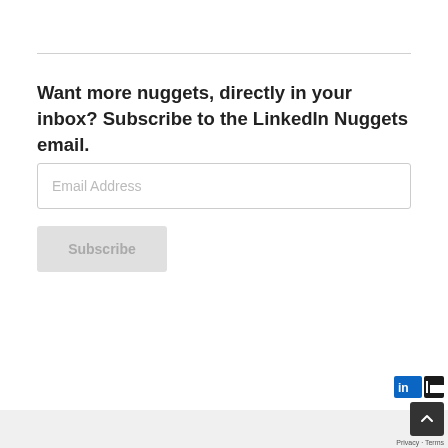Want more nuggets, directly in your inbox? Subscribe to the LinkedIn Nuggets email.
[Figure (screenshot): Email address input field with placeholder text 'Email Address']
[Figure (screenshot): Subscribe button in light grey]
[Figure (screenshot): LinkedIn logo partial view and scroll-to-top button in bottom right corner with Privacy and Terms links]